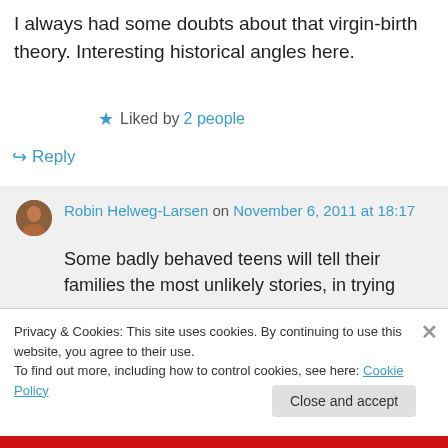I always had some doubts about that virgin-birth theory. Interesting historical angles here.
★ Liked by 2 people
↪ Reply
Robin Helweg-Larsen on November 6, 2011 at 18:17
Some badly behaved teens will tell their families the most unlikely stories, in trying
Privacy & Cookies: This site uses cookies. By continuing to use this website, you agree to their use.
To find out more, including how to control cookies, see here: Cookie Policy
Close and accept